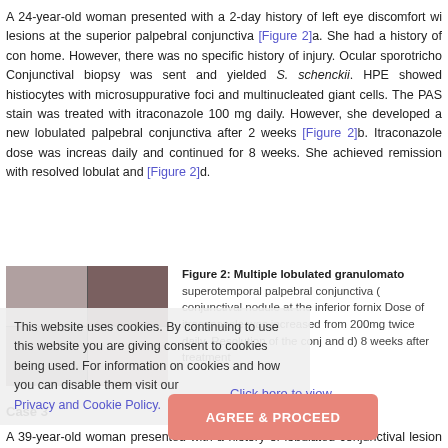A 24-year-old woman presented with a 2-day history of left eye discomfort with lesions at the superior palpebral conjunctiva [Figure 2]a. She had a history of contact home. However, there was no specific history of injury. Ocular sporotricho Conjunctival biopsy was sent and yielded S. schenckii. HPE showed histiocytes with microsuppurative foci and multinucleated giant cells. The PAS stain was treated with itraconazole 100 mg daily. However, she developed a new lobulated palpebral conjunctiva after 2 weeks [Figure 2]b. Itraconazole dose was increas daily and continued for 8 weeks. She achieved remission with resolved lobulat and [Figure 2]d.
[Figure (photo): Four-panel photo grid showing eye lesions (lobulated granulomatous conjunctival lesions) at different stages]
Figure 2: Multiple lobulated granulomato superotemporal palpebral conjunctiva ( conjunctival nodule at the inferior fornix Dose of itraconazole was increased from 200mg twice daily. Resolution of the conj and d) 8 weeks after treatment
Click here to view
This website uses cookies. By continuing to use this website you are giving consent to cookies being used. For information on cookies and how you can disable them visit our
Privacy and Cookie Policy.
Case 3
AGREE & PROCEED
A 39-year-old woman presented with a history of lobulated conjunctival lesion of lower lids for 3 weeks with minimal discharge. Ocular examination showed